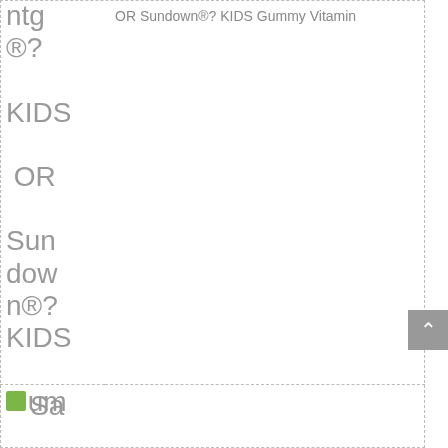ntg®? KIDS OR Sundown®? KIDS Gummy Vitamin
OR Sundown®? KIDS Gummy Vitamin
[Figure (other): Save label/image placeholder (partial image visible at bottom left)]